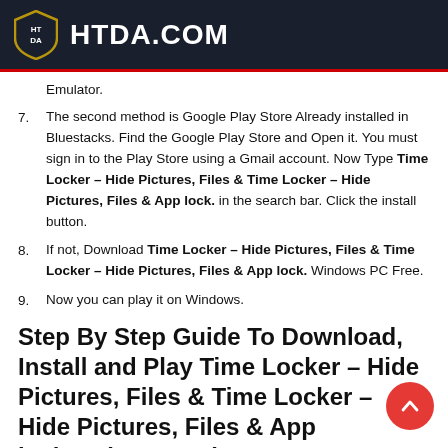HTDA.COM
Emulator.
7. The second method is Google Play Store Already installed in Bluestacks. Find the Google Play Store and Open it. You must sign in to the Play Store using a Gmail account. Now Type Time Locker – Hide Pictures, Files & Time Locker – Hide Pictures, Files & App lock. in the search bar. Click the install button.
8. If not, Download Time Locker – Hide Pictures, Files & Time Locker – Hide Pictures, Files & App lock. Windows PC Free.
9. Now you can play it on Windows.
Step By Step Guide To Download, Install and Play Time Locker – Hide Pictures, Files & Time Locker – Hide Pictures, Files & App lock. using NoxPlayer